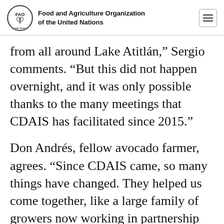Food and Agriculture Organization of the United Nations
from all around Lake Atitlán,” Sergio comments. “But this did not happen overnight, and it was only possible thanks to the many meetings that CDAIS has facilitated since 2015.”
Don Andrés, fellow avocado farmer, agrees. “Since CDAIS came, so many things have changed. They helped us come together, like a large family of growers now working in partnership for the common good,” he says.
To successfully boost the agriculture sector through innovation, there are two types of capacities: technical and functional. However, the